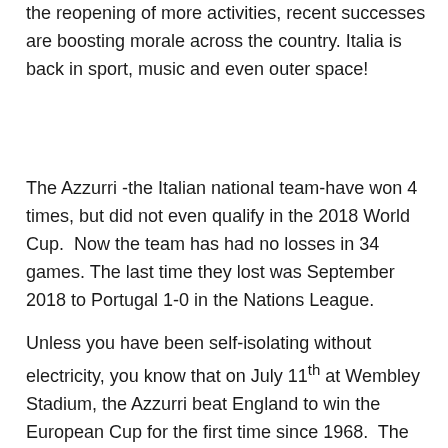the reopening of more activities, recent successes are boosting morale across the country. Italia is back in sport, music and even outer space!
The Azzurri -the Italian national team-have won 4 times, but did not even qualify in the 2018 World Cup.  Now the team has had no losses in 34 games.  The last time they lost was September 2018 to Portugal 1-0 in the Nations League.
Unless you have been self-isolating without electricity, you know that on July 11th at Wembley Stadium, the Azzurri beat England to win the European Cup for the first time since 1968.  The Azzurri played well throughout the tournament, so fans were hopeful.  It was not an easy win-taking 30 minutes extra time and then going to shootouts.  The game was anxiety inducing and could have gone either way.  I was sad to see the English team immediately take off their medals. Those who well